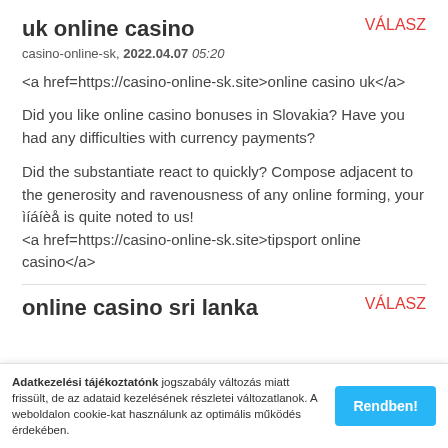uk online casino
casino-online-sk, 2022.04.07 05:20
<a href=https://casino-online-sk.site>online casino uk</a>
Did you like online casino bonuses in Slovakia? Have you had any difficulties with currency payments?
Did the substantiate react to quickly? Compose adjacent to the generosity and ravenousness of any online forming, your ìíáíèå is quite noted to us!
<a href=https://casino-online-sk.site>tipsport online casino</a>
online casino sri lanka